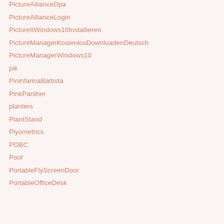PictureAllianceDpa
PictureAllianceLogin
PictureItWindows10Installieren
PictureManagerKostenlosDownloadenDeutsch
PictureManagerWindows10
pik
PininfarinaBattista
PinkPanther
planters
PlantStand
Plyometrics
POBC
Pool
PortableFlyScreenDoor
PortableOfficeDesk